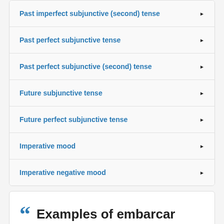Past imperfect subjunctive (second) tense ▶
Past perfect subjunctive tense ▶
Past perfect subjunctive (second) tense ▶
Future subjunctive tense ▶
Future perfect subjunctive tense ▶
Imperative mood ▶
Imperative negative mood ▶
Examples of embarcar